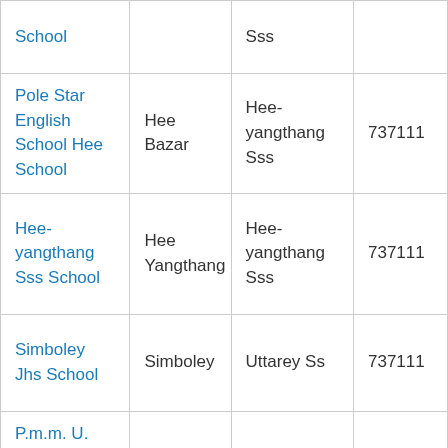| School |  | Sss |  |
| Pole Star English School Hee School | Hee Bazar | Hee-yangthang Sss | 737111 |
| Hee-yangthang Sss School | Hee Yangthang | Hee-yangthang Sss | 737111 |
| Simboley Jhs School | Simboley | Uttarey Ss | 737111 |
| P.m.m. U. Smart Academy School | Uttarey | Uttarey Ss | 737111 |